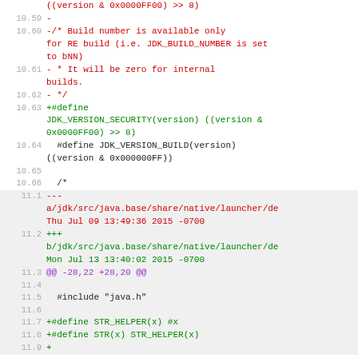((version & 0x0000FF00) >> 8)
10.59  -
10.60  -/* Build number is available only for RE build (i.e. JDK_BUILD_NUMBER is set to bNN)
10.61  - * It will be zero for internal builds.
10.62  - */
10.63  +#define JDK_VERSION_SECURITY(version) ((version & 0x0000FF00) >> 8)
10.64    #define JDK_VERSION_BUILD(version) ((version & 0x000000FF))
10.65
10.66    /*
11.1   --- a/jdk/src/java.base/share/native/launcher/de Thu Jul 09 13:49:36 2015 -0700
11.2   +++ b/jdk/src/java.base/share/native/launcher/de Mon Jul 13 13:40:02 2015 -0700
11.3   @@ -28,22 +28,20 @@
11.4
11.5     #include "java.h"
11.6
11.7   +#define STR_HELPER(x) #x
11.8   +#define STR(x) STR_HELPER(x)
11.9   +